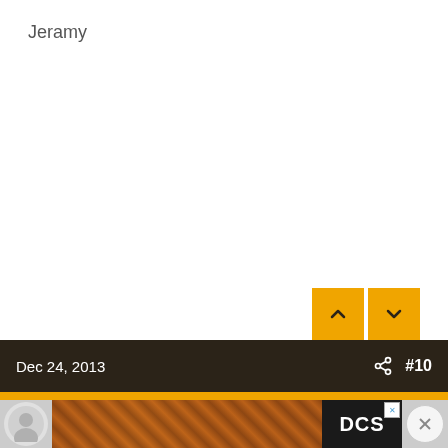Jeramy
[Figure (screenshot): Navigation up/down arrow buttons in golden/amber color]
Dec 24, 2013   #10
[Figure (photo): Advertisement banner showing roasted chicken food image with DCS logo and close button]